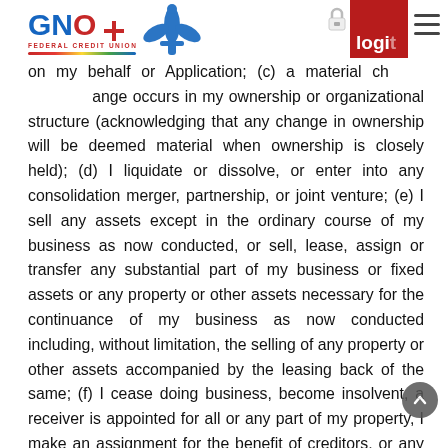GNO Federal Credit Union logo and navigation header with login button
on my behalf or Application; (c) a material change occurs in my ownership or organizational structure (acknowledging that any change in ownership will be deemed material when ownership is closely held); (d) I liquidate or dissolve, or enter into any consolidation merger, partnership, or joint venture; (e) I sell any assets except in the ordinary course of my business as now conducted, or sell, lease, assign or transfer any substantial part of my business or fixed assets or any property or other assets necessary for the continuance of my business as now conducted including, without limitation, the selling of any property or other assets accompanied by the leasing back of the same; (f) I cease doing business, become insolvent, a receiver is appointed for all or any part of my property, I make an assignment for the benefit of creditors, or any proceeding is commenced either by me or against me under any bankruptcy or insolvency laws or any other law or laws relating to debtors; (g) any guaranty of my indebtedness to you, whether related or unrelated to the